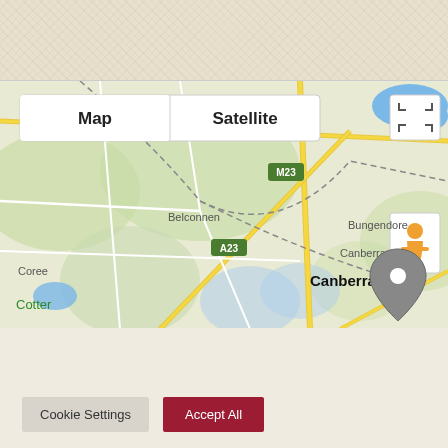[Figure (map): Google Maps screenshot showing Canberra, Australia region with Map/Satellite toggle buttons, location pin marker over Canberra, showing surrounding areas: Bywong, Belconnen, Coree, Cotter, Bungendore, road labels M23 and A23, fullscreen button, and Street View pegman icon.]
We use cookies on our website to give you the most relevant experience by remembering your preferences and repeat visits. By clicking "Accept All", you consent to the use of ALL the cookies. However, you may visit "Cookie Settings" to provide a controlled consent.
Cookie Settings
Accept All